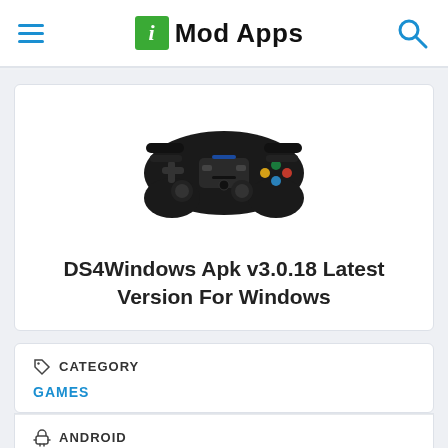iMod Apps
[Figure (illustration): Black PlayStation DS4 controller (DualShock 4) on white background]
DS4Windows Apk v3.0.18 Latest Version For Windows
CATEGORY
GAMES
ANDROID
WINDOWS